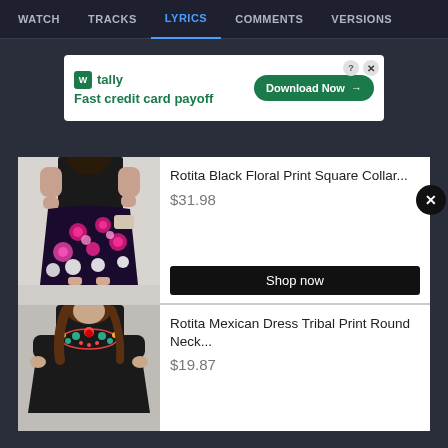WATCH  TRACKS  LYRICS  COMMENTS  VERSIONS
[Figure (screenshot): Tally app advertisement banner: 'Fast credit card payoff' with Download Now button]
[Figure (photo): Rotita Black Floral Print Square Collar dress product photo - woman wearing black top with floral midi skirt]
Rotita Black Floral Print Square Collar...
$31.98
Shop now
[Figure (photo): Rotita Mexican Dress Tribal Print Round Neck dress product photo - woman wearing black embroidered dress]
Rotita Mexican Dress Tribal Print Round Neck...
$19.87